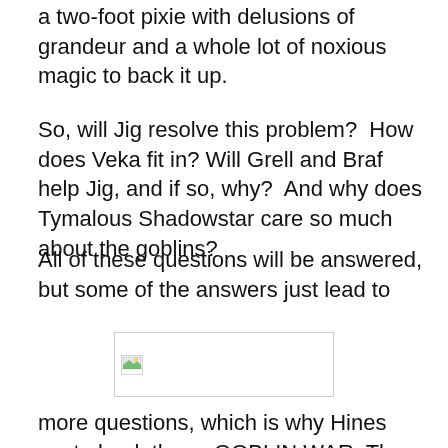a two-foot pixie with delusions of grandeur and a whole lot of noxious magic to back it up.
So, will Jig resolve this problem?  How does Veka fit in?  Will Grell and Braf help Jig, and if so, why?  And why does Tymalous Shadowstar care so much about the goblins?
All of these questions will be answered, but some of the answers just lead to
[Figure (other): A broken/missing image placeholder icon with a small landscape thumbnail icon in the upper left corner]
more questions, which is why Hines wrote book three, GOBLIN WAR. The book starts with Jig being the